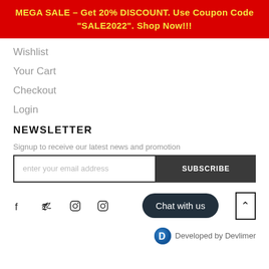MEGA SALE - Get 20% DISCOUNT. Use Coupon Code "SALE2022". Shop Now!!!
Wishlist
Your Cart
Checkout
Login
NEWSLETTER
Signup to receive our latest news and promotion
enter your email address   SUBSCRIBE
[Figure (infographic): Social media icons: Facebook, Twitter, Instagram, Instagram]
Chat with us
Developed by Devlimer